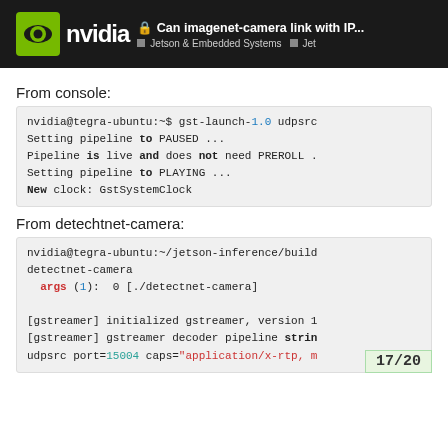Can imagenet-camera link with IP... Jetson & Embedded Systems Jet
From console:
nvidia@tegra-ubuntu:~$ gst-launch-1.0 udpsrc
Setting pipeline to PAUSED ...
Pipeline is live and does not need PREROLL .
Setting pipeline to PLAYING ...
New clock: GstSystemClock
From detechtnet-camera:
nvidia@tegra-ubuntu:~/jetson-inference/build detectnet-camera
  args (1):  0 [./detectnet-camera]

[gstreamer] initialized gstreamer, version 1
[gstreamer] gstreamer decoder pipeline strin
udpsrc port=15004 caps="application/x-rtp, m